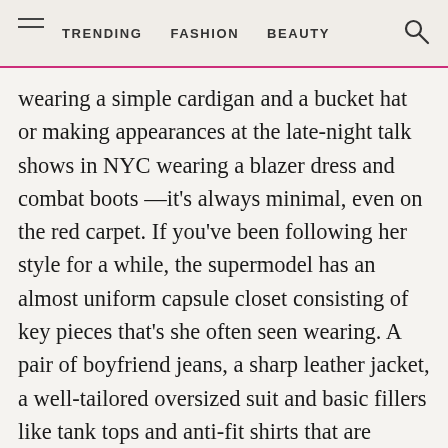TRENDING  FASHION  BEAUTY
wearing a simple cardigan and a bucket hat or making appearances at the late-night talk shows in NYC wearing a blazer dress and combat boots —it's always minimal, even on the red carpet. If you've been following her style for a while, the supermodel has an almost uniform capsule closet consisting of key pieces that's she often seen wearing. A pair of boyfriend jeans, a sharp leather jacket, a well-tailored oversized suit and basic fillers like tank tops and anti-fit shirts that are essential to complete the look.
Previously we've deciphered her off-duty fits